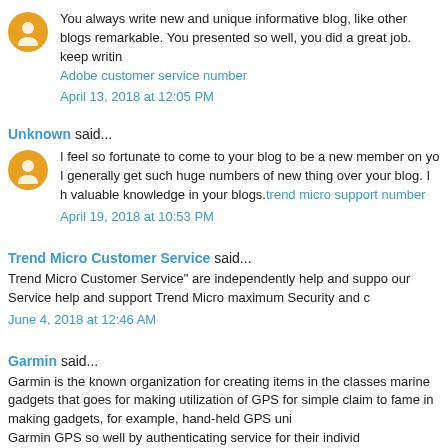You always write new and unique informative blog, like other blogs remarkable. You presented so well, you did a great job. keep writing Adobe customer service number
April 13, 2018 at 12:05 PM
Unknown said...
I feel so fortunate to come to your blog to be a new member on yo I generally get such huge numbers of new thing over your blog. I h valuable knowledge in your blogs. trend micro support number
April 19, 2018 at 10:53 PM
Trend Micro Customer Service said...
Trend Micro Customer Service" are independently help and suppo our Service help and support Trend Micro maximum Security and c
June 4, 2018 at 12:46 AM
Garmin said...
Garmin is the known organization for creating items in the classes marine gadgets that goes for making utilization of GPS for simple claim to fame in making gadgets, for example, hand-held GPS uni Garmin GPS so well by authenticating service for their individ